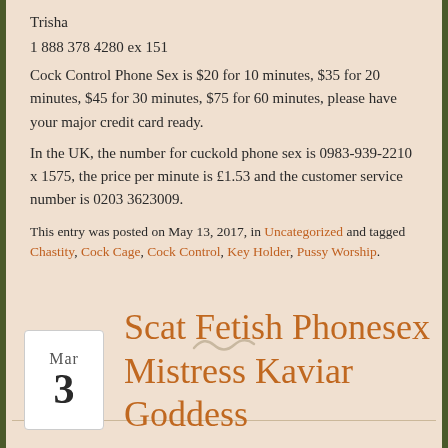Trisha
1 888 378 4280 ex 151
Cock Control Phone Sex is $20 for 10 minutes, $35 for 20 minutes, $45 for 30 minutes, $75 for 60 minutes, please have your major credit card ready.
In the UK, the number for cuckold phone sex is 0983-939-2210 x 1575, the price per minute is £1.53 and the customer service number is 0203 3623009.
This entry was posted on May 13, 2017, in Uncategorized and tagged Chastity, Cock Cage, Cock Control, Key Holder, Pussy Worship.
Scat Fetish Phonesex Mistress Kaviar Goddess